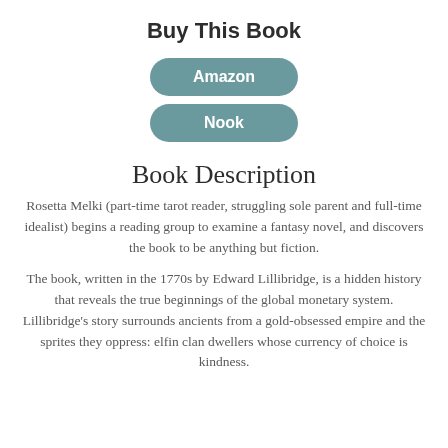Buy This Book
[Figure (other): Two rounded rectangular buttons labeled 'Amazon' and 'Nook' in teal/muted blue-green color]
Book Description
Rosetta Melki (part-time tarot reader, struggling sole parent and full-time idealist) begins a reading group to examine a fantasy novel, and discovers the book to be anything but fiction.
The book, written in the 1770s by Edward Lillibridge, is a hidden history that reveals the true beginnings of the global monetary system. Lillibridge's story surrounds ancients from a gold-obsessed empire and the sprites they oppress: elfin clan dwellers whose currency of choice is kindness.